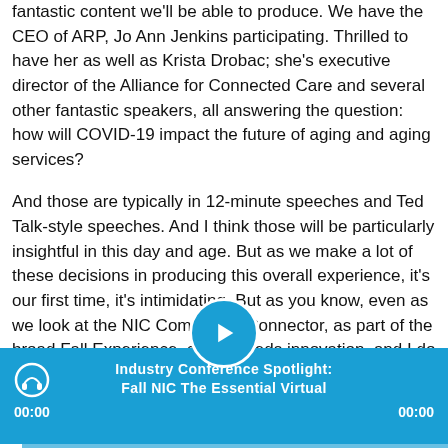fantastic content we'll be able to produce. We have the CEO of ARP, Jo Ann Jenkins participating. Thrilled to have her as well as Krista Drobac; she's executive director of the Alliance for Connected Care and several other fantastic speakers, all answering the question: how will COVID-19 impact the future of aging and aging services?
And those are typically in 12-minute speeches and Ted Talk-style speeches. And I think those will be particularly insightful in this day and age. But as we make a lot of these decisions in producing this overall experience, it's our first time, it's intimidating. But as you know, even as we look at the NIC Community Connector, as part of the broad Fall Experience, crisis breeds innovation, and I do think the NIC Community Connector will become [more] powerful as the number of
[Figure (other): Audio/video player bar with play button, title 'Industry Conference Spotlight: Fall NIC The Essential Virtual', time displays 00:00 on both sides, and a progress bar at the bottom. Blue background.]